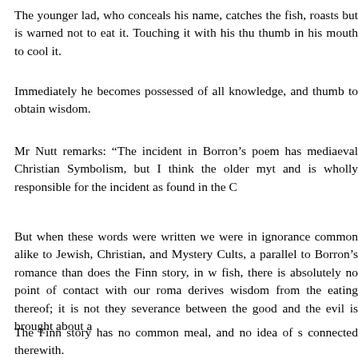The younger lad, who conceals his name, catches the fish, roasts but is warned not to eat it. Touching it with his thumb in his mouth to cool it.
Immediately he becomes possessed of all knowledge, and thumb to obtain wisdom.
Mr Nutt remarks: “The incident in Borron’s poem has mediaeval Christian Symbolism, but I think the older myth and is wholly responsible for the incident as found in the C
But when these words were written we were in ignorance common alike to Jewish, Christian, and Mystery Cults, a parallel to Borron’s romance than does the Finn story, in w fish, there is absolutely no point of contact with our roma derives wisdom from the eating thereof; it is not they severance between the good and the evil is brought about a
The Finn story has no common meal, and no idea of s connected therewith.